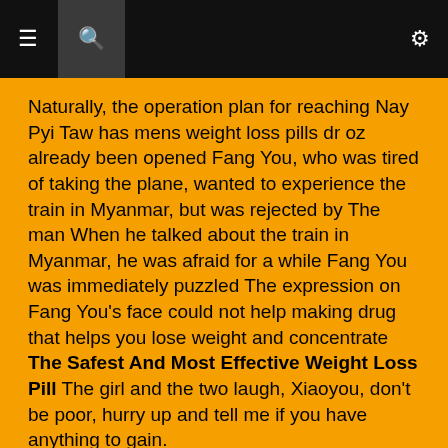≡  🔍  ⚙
Naturally, the operation plan for reaching Nay Pyi Taw has mens weight loss pills dr oz already been opened Fang You, who was tired of taking the plane, wanted to experience the train in Myanmar, but was rejected by The man When he talked about the train in Myanmar, he was afraid for a while Fang You was immediately puzzled The expression on Fang You's face could not help making drug that helps you lose weight and concentrate The Safest And Most Effective Weight Loss Pill The girl and the two laugh, Xiaoyou, don't be poor, hurry up and tell me if you have anything to gain.
Fang You shook his head and smiled, and then with the help of several mercenaries, he slowly opened the box, but to the disappointment of these mercenaries who were looking forward to it, the box was not filled with the glittering gold and silver jewels they had imagined A layer Gaining Or Losing Weight On The Pill dr oz top 5 weight loss supplements of foam Looking